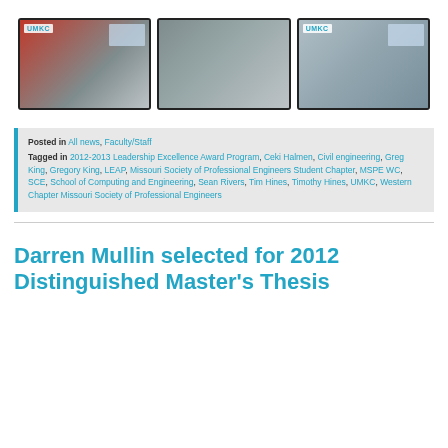[Figure (photo): Three photos side by side: (1) Two men, one in red shirt receiving award certificate in front of UMKC slide projection screen; (2) Group of four men standing together indoors; (3) Two men, one in white shirt receiving award certificate in front of UMKC slide projection screen.]
Posted in All news, Faculty/Staff
Tagged in 2012-2013 Leadership Excellence Award Program, Ceki Halmen, Civil engineering, Greg King, Gregory King, LEAP, Missouri Society of Professional Engineers Student Chapter, MSPE WC, SCE, School of Computing and Engineering, Sean Rivers, Tim Hines, Timothy Hines, UMKC, Western Chapter Missouri Society of Professional Engineers
Darren Mullin selected for 2012 Distinguished Master's Thesis